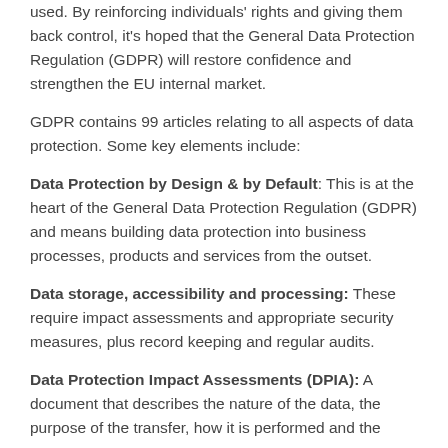used. By reinforcing individuals' rights and giving them back control, it's hoped that the General Data Protection Regulation (GDPR) will restore confidence and strengthen the EU internal market.
GDPR contains 99 articles relating to all aspects of data protection. Some key elements include:
Data Protection by Design & by Default: This is at the heart of the General Data Protection Regulation (GDPR) and means building data protection into business processes, products and services from the outset.
Data storage, accessibility and processing: These require impact assessments and appropriate security measures, plus record keeping and regular audits.
Data Protection Impact Assessments (DPIA): A document that describes the nature of the data, the purpose of the transfer, how it is performed and the